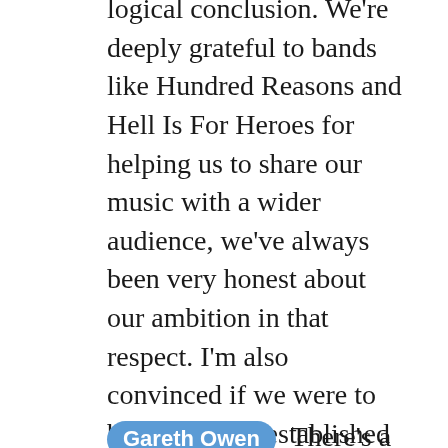logical conclusion. We're deeply grateful to bands like Hundred Reasons and Hell Is For Heroes for helping us to share our music with a wider audience, we've always been very honest about our ambition in that respect. I'm also convinced if we were to become more established it would have had a negative impact on the music and our relationships.
Gareth Owen There's a life cycle with everything and eventually we came to the end of ours. Our schedules weren't matching any more. Euan & Stuart lived in Leicester, Lee was moving to Southend and I'd juggled the band by living in London the whole time. I've never understood bands that persist through multiple line up changes personally. Some work, but for us, we knew that if we couldn't all do it to the level we deserve, then that's when we call it a day. And we did.